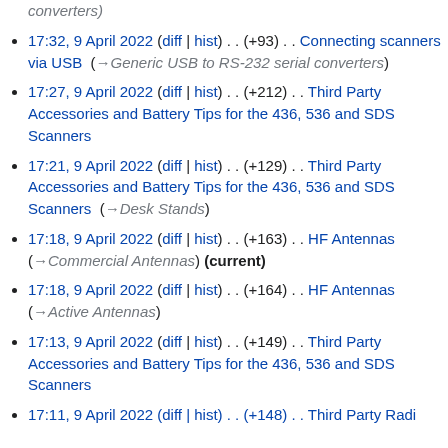converters)
17:32, 9 April 2022 (diff | hist) . . (+93) . . Connecting scanners via USB (→Generic USB to RS-232 serial converters)
17:27, 9 April 2022 (diff | hist) . . (+212) . . Third Party Accessories and Battery Tips for the 436, 536 and SDS Scanners
17:21, 9 April 2022 (diff | hist) . . (+129) . . Third Party Accessories and Battery Tips for the 436, 536 and SDS Scanners (→Desk Stands)
17:18, 9 April 2022 (diff | hist) . . (+163) . . HF Antennas (→Commercial Antennas) (current)
17:18, 9 April 2022 (diff | hist) . . (+164) . . HF Antennas (→Active Antennas)
17:13, 9 April 2022 (diff | hist) . . (+149) . . Third Party Accessories and Battery Tips for the 436, 536 and SDS Scanners
17:11, 9 April 2022 (diff | hist) . . (+148) . . Third Party Radio...